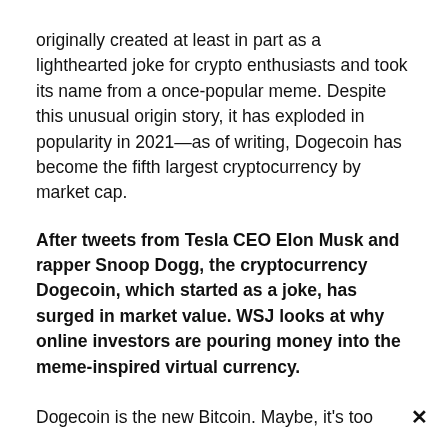originally created at least in part as a lighthearted joke for crypto enthusiasts and took its name from a once-popular meme. Despite this unusual origin story, it has exploded in popularity in 2021—as of writing, Dogecoin has become the fifth largest cryptocurrency by market cap.
After tweets from Tesla CEO Elon Musk and rapper Snoop Dogg, the cryptocurrency Dogecoin, which started as a joke, has surged in market value. WSJ looks at why online investors are pouring money into the meme-inspired virtual currency.
Dogecoin is the new Bitcoin. Maybe, it's too